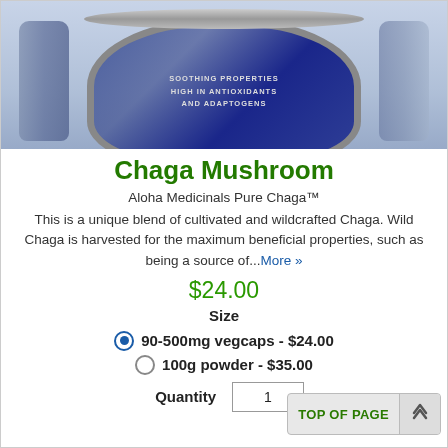[Figure (photo): Product image showing top of a Chaga Mushroom supplement jar with dark blue lid, text on jar reads SOOTHING PROPERTIES HIGH IN ANTIOXIDANTS AND ADAPTOGENS]
Chaga Mushroom
Aloha Medicinals Pure Chaga™
This is a unique blend of cultivated and wildcrafted Chaga. Wild Chaga is harvested for the maximum beneficial properties, such as being a source of...More »
$24.00
Size
90-500mg vegcaps - $24.00
100g powder - $35.00
Quantity
1